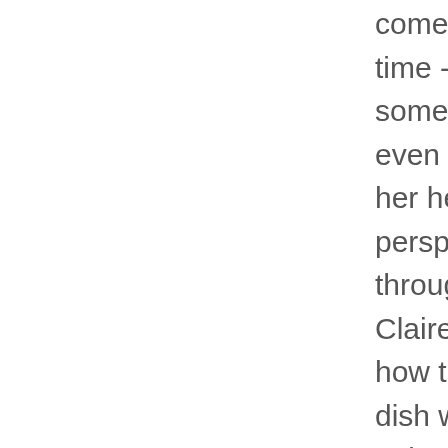come from any place at any time - sometimes from family, sometimes from friends, or even from bloggers needing her help. Based on her unique perspective gathered throughout each episode, Claire will teach the audience how to prepare the "inspired" dish while promoting a healthy attitude towards food and life. Clare shops for her ingredients and shows viewers how to look for good buys. She also explains what the essentials are for a beginner kitchen. This program is specifically designed to further the educational and informational needs of children, has educating and